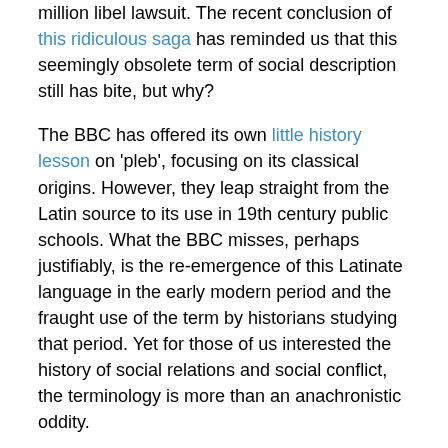million libel lawsuit. The recent conclusion of this ridiculous saga has reminded us that this seemingly obsolete term of social description still has bite, but why?
The BBC has offered its own little history lesson on 'pleb', focusing on its classical origins. However, they leap straight from the Latin source to its use in 19th century public schools. What the BBC misses, perhaps justifiably, is the re-emergence of this Latinate language in the early modern period and the fraught use of the term by historians studying that period. Yet for those of us interested the history of social relations and social conflict, the terminology is more than an anachronistic oddity.
[Figure (photo): Photograph of historic British buildings/towers at dusk with a pinkish-purple sky, showing gothic-style architecture including a spire on the left and a castle-like building on the right.]